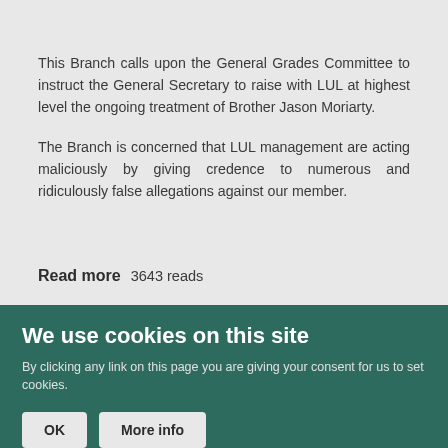This Branch calls upon the General Grades Committee to instruct the General Secretary to raise with LUL at highest level the ongoing treatment of Brother Jason Moriarty.
The Branch is concerned that LUL management are acting maliciously by giving credence to numerous and ridiculously false allegations against our member.
Read more   3643 reads
We use cookies on this site
By clicking any link on this page you are giving your consent for us to set cookies.
OK   More info